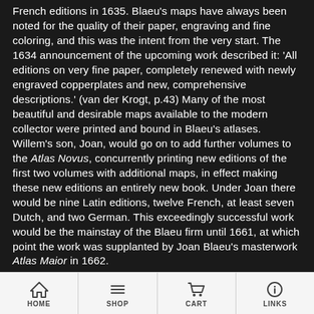French editions in 1635. Blaeu's maps have always been noted for the quality of their paper, engraving and fine coloring, and this was the intent from the very start. The 1634 announcement of the upcoming work described it: 'All editions on very fine paper, completely renewed with newly engraved copperplates and new, comprehensive descriptions.' (van der Krogt, p.43) Many of the most beautiful and desirable maps available to the modern collector were printed and bound in Blaeu's atlases. Willem's son, Joan, would go on to add further volumes to the Atlas Novus, concurrently printing new editions of the first two volumes with additional maps, in effect making these new editions an entirely new book. Under Joan there would be nine Latin editions, twelve French, at least seven Dutch, and two German. This exceedingly successful work would be the mainstay of the Blaeu firm until 1661, at which point the work was supplanted by Joan Blaeu's masterwork Atlas Maior in 1662.
HOME  SHOP  CART  LINKS